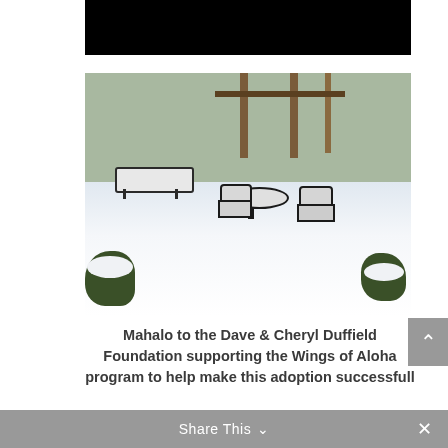[Figure (photo): Top portion of a photo with dark/black area visible at the top of the page, partial view]
[Figure (photo): Outdoor patio covered in snow. Snow blankets a lounge chair, a round table, and two patio chairs. Snow-covered shrubs in foreground. Wooden pergola posts and green fence in background. Snow is falling.]
Mahalo to the Dave & Cheryl Duffield Foundation supporting the Wings of Aloha program to help make this adoption successfull
Share This ∨  ✕